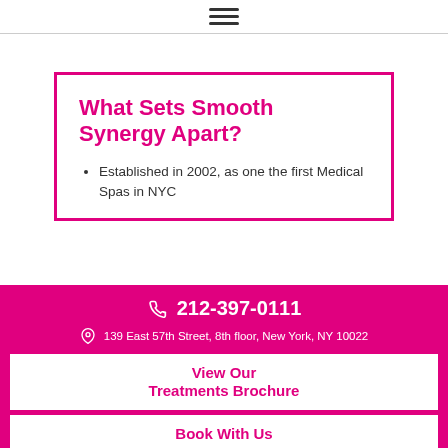☰ (hamburger menu icon)
What Sets Smooth Synergy Apart?
Established in 2002, as one the first Medical Spas in NYC
☎ 212-397-0111
📍 139 East 57th Street, 8th floor, New York, NY 10022
View Our Treatments Brochure
Book With Us
Social icons: Instagram, Facebook, Twitter, Pinterest